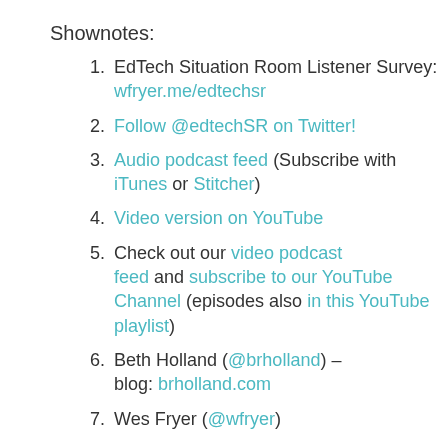Shownotes:
EdTech Situation Room Listener Survey: wfryer.me/edtechsr
Follow @edtechSR on Twitter!
Audio podcast feed (Subscribe with iTunes or Stitcher)
Video version on YouTube
Check out our video podcast feed and subscribe to our YouTube Channel (episodes also in this YouTube playlist)
Beth Holland (@brholland) – blog: brholland.com
Wes Fryer (@wfryer)